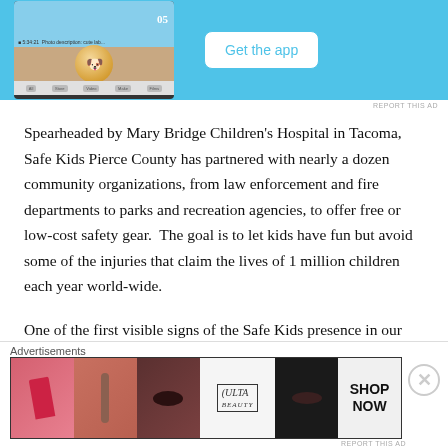[Figure (screenshot): Mobile app advertisement banner with blue background, phone mockup on left, and 'Get the app' button on right]
Spearheaded by Mary Bridge Children's Hospital in Tacoma, Safe Kids Pierce County has partnered with nearly a dozen community organizations, from law enforcement and fire departments to parks and recreation agencies, to offer free or low-cost safety gear.  The goal is to let kids have fun but avoid some of the injuries that claim the lives of 1 million children each year world-wide.
One of the first visible signs of the Safe Kids presence in our community is the recently established Life Jacket
[Figure (screenshot): Ulta Beauty advertisement banner showing makeup and cosmetics imagery with 'SHOP NOW' call to action]